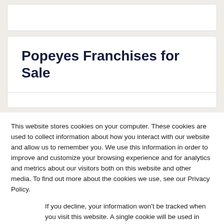Popeyes Franchises for Sale
This website stores cookies on your computer. These cookies are used to collect information about how you interact with our website and allow us to remember you. We use this information in order to improve and customize your browsing experience and for analytics and metrics about our visitors both on this website and other media. To find out more about the cookies we use, see our Privacy Policy.
If you decline, your information won’t be tracked when you visit this website. A single cookie will be used in your browser to remember your preference not to be tracked.